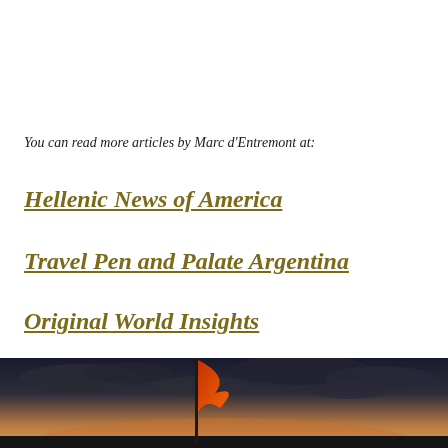You can read more articles by Marc d'Entremont at:
Hellenic News of America
Travel Pen and Palate Argentina
Original World Insights
[Figure (photo): Outdoor twilight scene with a tall orange-red flag or structure against a dramatic cloudy sky with warm sunset tones at the horizon]